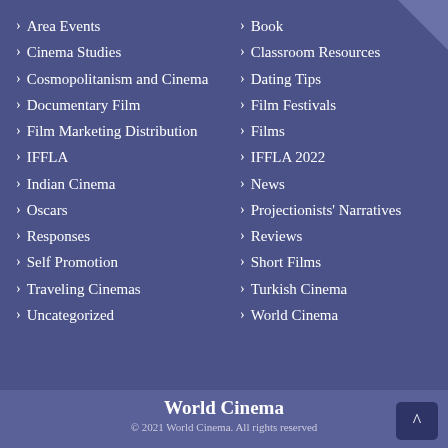Area Events
Cinema Studies
Cosmopolitanism and Cinema
Documentary Film
Film Marketing Distribution
IFFLA
Indian Cinema
Oscars
Responses
Self Promotion
Traveling Cinemas
Uncategorized
Book
Classroom Resources
Dating Tips
Film Festivals
Films
IFFLA 2022
News
Projectionists' Narratives
Reviews
Short Films
Turkish Cinema
World Cinema
World Cinema
© 2021 World Cinema. All rights reserved